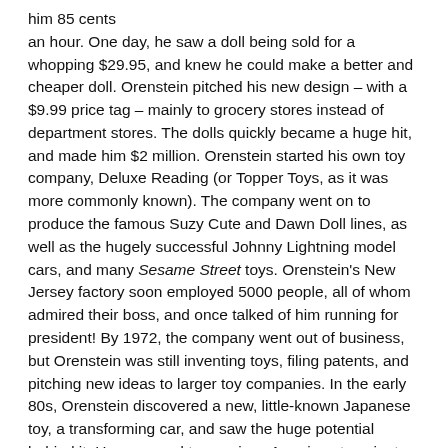him 85 cents an hour. One day, he saw a doll being sold for a whopping $29.95, and knew he could make a better and cheaper doll. Orenstein pitched his new design – with a $9.99 price tag – mainly to grocery stores instead of department stores. The dolls quickly became a huge hit, and made him $2 million. Orenstein started his own toy company, Deluxe Reading (or Topper Toys, as it was more commonly known). The company went on to produce the famous Suzy Cute and Dawn Doll lines, as well as the hugely successful Johnny Lightning model cars, and many Sesame Street toys. Orenstein's New Jersey factory soon employed 5000 people, all of whom admired their boss, and once talked of him running for president! By 1972, the company went out of business, but Orenstein was still inventing toys, filing patents, and pitching new ideas to larger toy companies. In the early 80s, Orenstein discovered a new, little-known Japanese toy, a transforming car, and saw the huge potential behind it. He managed to convince American toy giant Hasbro to bring